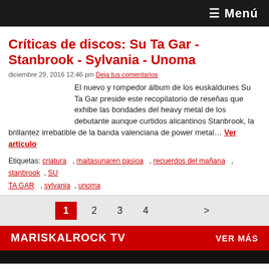≡ Menú
Críticas de discos: Su Ta Gar - Stanbrook - Sylvania - Unoma
diciembre 29, 2016 12:46 pm Deja tus comentarios
El nuevo y rompedor álbum de los euskaldunes Su Ta Gar preside este recopilatorio de reseñas que exhibe las bondades del heavy metal de los debutante aunque curtidos alicantinos Stanbrook, la brillantez irrebatible de la banda valenciana de power metal… Ver artículo
Etiquetas: criatura , maitasunaren pasioa , recuerdos del mañana , stanbrook , SU TA GAR , sylvania , unoma
1 2 3 4 >
MARISKALROCK TV   VER MÁS